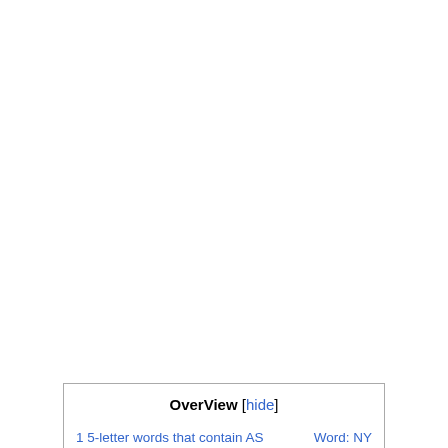| OverView [hide] |
| --- |
| 1 5-letter words that contain AS | Word: NY |